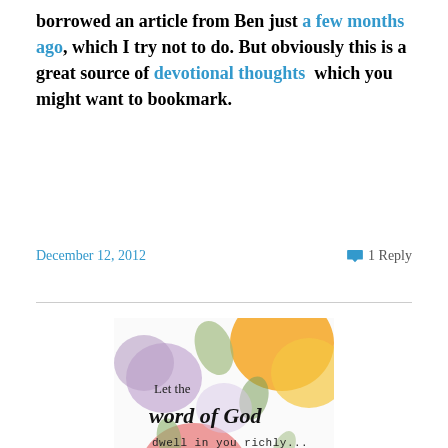borrowed an article from Ben just a few months ago, which I try not to do. But obviously this is a great source of devotional thoughts  which you might want to bookmark.
December 12, 2012   1 Reply
[Figure (illustration): Watercolor floral illustration with text overlay: 'Let the word of God dwell in you richly... with gratitude in your hearts sing psalms, hymns and spiritual songs to God.']